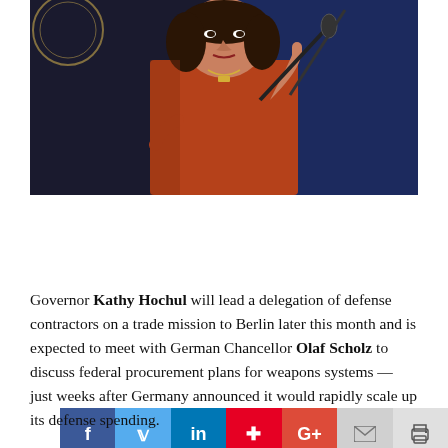[Figure (photo): A woman with dark hair wearing a rust-red dress gestures with her finger raised while speaking at a microphone, with a flag and seal in the background.]
[Figure (infographic): Social media share buttons: Facebook, Twitter, LinkedIn, Pinterest, Google+, Email, Print]
Governor Kathy Hochul will lead a delegation of defense contractors on a trade mission to Berlin later this month and is expected to meet with German Chancellor Olaf Scholz to discuss federal procurement plans for weapons systems — just weeks after Germany announced it would rapidly scale up its defense spending.
New York is home to many leading companies in the